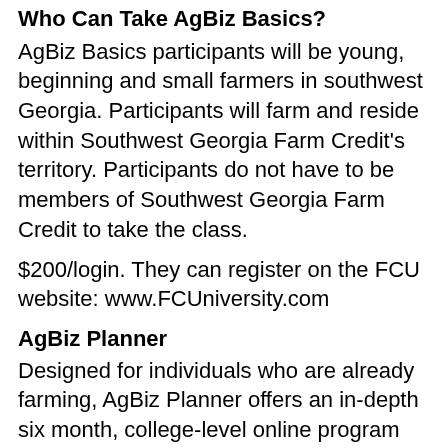Who Can Take AgBiz Basics?
AgBiz Basics participants will be young, beginning and small farmers in southwest Georgia. Participants will farm and reside within Southwest Georgia Farm Credit's territory. Participants do not have to be members of Southwest Georgia Farm Credit to take the class.
$200/login. They can register on the FCU website: www.FCUniversity.com
AgBiz Planner
Designed for individuals who are already farming, AgBiz Planner offers an in-depth six month, college-level online program focusing on the things farmers need to know to successfully manage their operations. The 10 online modules cover various topics such as strategic business planning, preparing financial statements, and growth and transition management.
Want to learn more? Contact Anna Kinchen at